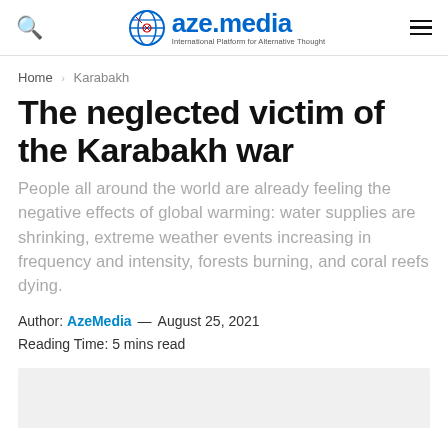aze.media — International Platform for Alternative Thought
Home › Karabakh
The neglected victim of the Karabakh war
People all around the world are already feeling the negative effects of global warming: water supplies are shrinking, extreme weather events increasing in frequency and intensity, forests burning, and coral reefs dying.
Author: AzeMedia — August 25, 2021
Reading Time: 5 mins read
[Figure (photo): Image placeholder / article photo (light gray background)]